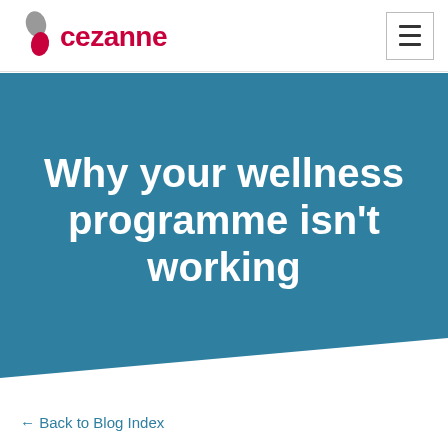[Figure (logo): Cezanne HR logo with stylized icon in gray and red, and 'cezanne' text in red]
Why your wellness programme isn't working
← Back to Blog Index